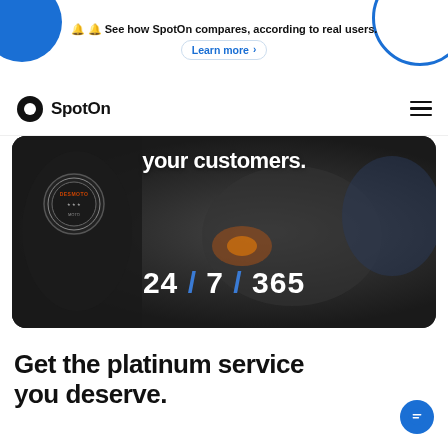🔔 🔔 See how SpotOn compares, according to real users.
Learn more >
[Figure (logo): SpotOn logo with black circle O and bold SpotOn text, hamburger menu icon on right]
[Figure (photo): Dark background photo of mechanic wearing DESMOTO patch, large white bold text reading 'your customers.' and '24 / 7 / 365' with blue slashes]
Get the platinum service you deserve.